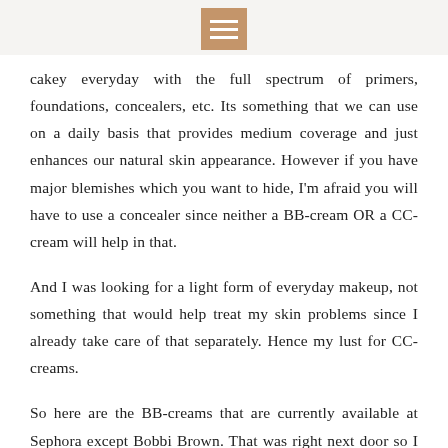[menu icon]
cakey everyday with the full spectrum of primers, foundations, concealers, etc. Its something that we can use on a daily basis that provides medium coverage and just enhances our natural skin appearance. However if you have major blemishes which you want to hide, I'm afraid you will have to use a concealer since neither a BB-cream OR a CC-cream will help in that.
And I was looking for a light form of everyday makeup, not something that would help treat my skin problems since I already take care of that separately. Hence my lust for CC-creams.
So here are the BB-creams that are currently available at Sephora except Bobbi Brown. That was right next door so I tried that too. Also please bear in mind the ratings that I